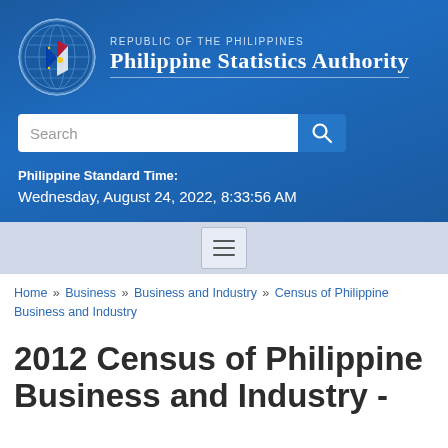[Figure (logo): Philippine Statistics Authority logo — globe with Philippine flag colors, circular seal]
Republic of the Philippines
Philippine Statistics Authority
Search
Philippine Standard Time:
Wednesday, August 24, 2022, 8:33:56 AM
Home » Business » Business and Industry » Census of Philippine Business and Industry
2012 Census of Philippine Business and Industry -